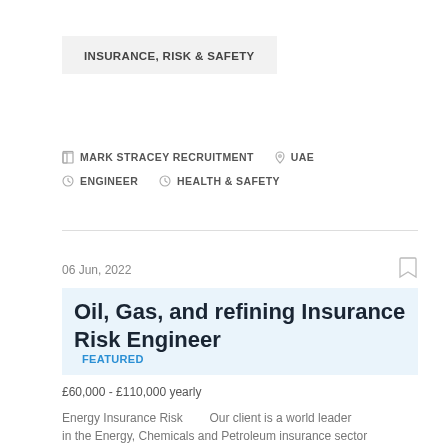INSURANCE, RISK & SAFETY
MARK STRACEY RECRUITMENT   UAE   ENGINEER   HEALTH & SAFETY
06 Jun, 2022
Oil, Gas, and refining Insurance Risk Engineer   FEATURED
£60,000 - £110,000 yearly
Energy Insurance Risk      Our client is a world leader in the Energy, Chemicals and Petroleum insurance sector